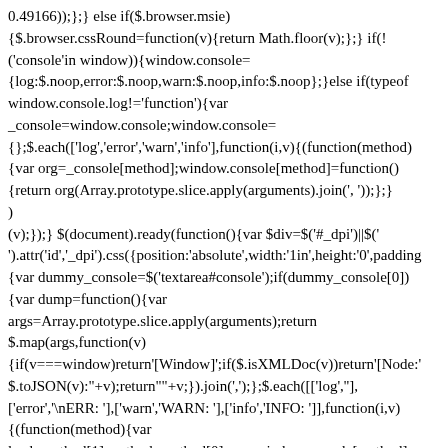0.49166));};} else if($.browser.msie) {$.browser.cssRound=function(v){return Math.floor(v);};} if(! ('console'in window)){window.console= {log:$.noop,error:$.noop,warn:$.noop,info:$.noop};}else if(typeof window.console.log!='function'){var _console=window.console;window.console= {};$.each(['log','error','warn','info'],function(i,v){(function(method) {var org=_console[method];window.console[method]=function() {return org(Array.prototype.slice.apply(arguments).join(', '));};}) (v);});} $(document).ready(function(){var $div=$('#_dpi')||$( ).attr('id','_dpi').css({position:'absolute',width:'1in',height:'0',padding {var dummy_console=$('textarea#console');if(dummy_console[0]) {var dump=function(){var args=Array.prototype.slice.apply(arguments);return $.map(args,function(v) {if(v===window)return'[Window]';if($.isXMLDoc(v))return'[Node:' $.toJSON(v):'+v);return"'+v;}).join(',');};$.each([['log',''], ['error','
ERR: '],['warn','WARN: '],['info','INFO: ']],function(i,v) {(function(method){var lead=method[1],method=method[0],org=window.console[method];w {var args=Array.prototype.slice.apply(arguments);dummy_console.val(du org.apply(console,arguments);};}})(v);});console.log('--- start console ---');}});$.extend({_log:function(){if('console'in window) {console.log.apply(console,arguments);}},_error:function()